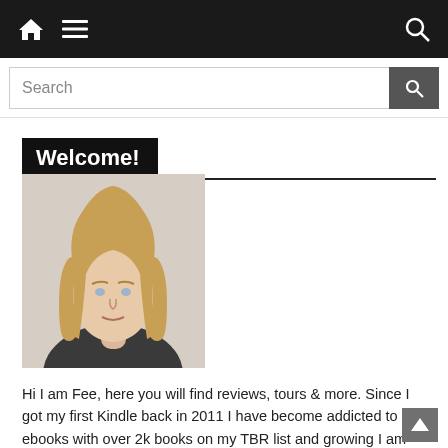Home | Menu | Search (navigation bar)
Search
Welcome!
[Figure (photo): Portrait photo of a young woman with straight blonde hair, wearing a dark top, photographed indoors.]
Hi I am Fee, here you will find reviews, tours & more. Since I got my first Kindle back in 2011 I have become addicted to ebooks with over 2k books on my TBR list and growing I am using this blog to post my reviews. You can find my day to